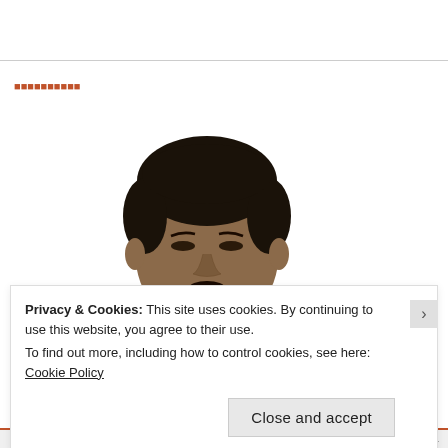[navigation link - partially visible orange text]
[Figure (photo): A man in a dark suit with a patterned tie, eyes partially closed, smiling slightly, photographed against a white background.]
Privacy & Cookies: This site uses cookies. By continuing to use this website, you agree to their use.
To find out more, including how to control cookies, see here: Cookie Policy
Close and accept